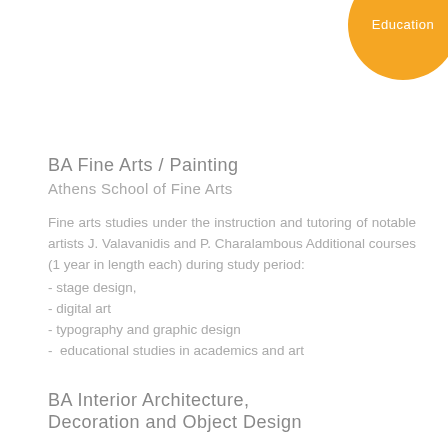[Figure (other): Gold/yellow circular badge with text 'Education' in white]
BA Fine Arts / Painting
Athens School of Fine Arts
Fine arts studies under the instruction and tutoring of notable artists J. Valavanidis and P. Charalambous Additional courses (1 year in length each) during study period:
- stage design,
- digital art
- typography and graphic design
- educational studies in academics and art
BA Interior Architecture, Decoration and Object Design